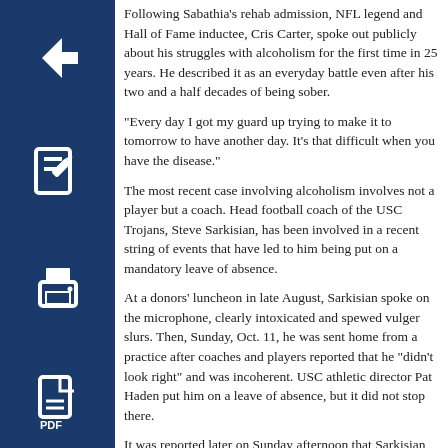[Figure (illustration): Four dark blue square icon buttons stacked vertically on the left side: back arrow, edit/pencil, print, and PDF document icons]
Following Sabathia’s rehab admission, NFL legend and Hall of Fame inductee, Cris Carter, spoke out publicly about his struggles with alcoholism for the first time in 25 years. He described it as an everyday battle even after his two and a half decades of being sober.
“Every day I got my guard up trying to make it to tomorrow to have another day. It’s that difficult when you have the disease.”
The most recent case involving alcoholism involves not a player but a coach. Head football coach of the USC Trojans, Steve Sarkisian, has been involved in a recent string of events that have led to him being put on a mandatory leave of absence.
At a donors’ luncheon in late August, Sarkisian spoke on the microphone, clearly intoxicated and spewed vulger slurs. Then, Sunday, Oct. 11, he was sent home from a practice after coaches and players reported that he “didn’t look right” and was incoherent. USC athletic director Pat Haden put him on a leave of absence, but it did not stop there.
It was reported later on Sunday afternoon that Sarkisian was pulled off the sidelines during a game two weeks ago, as he appeared to be drunk in the huddle. His struggles have possibly led to the Trojans’ problems on the field as they have lost two of their last three games after being ranked in the Associated Press top ten.